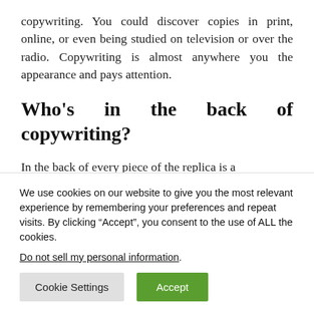copywriting. You could discover copies in print, online, or even being studied on television or over the radio. Copywriting is almost anywhere you the appearance and pays attention.
Who's in the back of copywriting?
In the back of every piece of the replica is a
We use cookies on our website to give you the most relevant experience by remembering your preferences and repeat visits. By clicking “Accept”, you consent to the use of ALL the cookies. Do not sell my personal information.
Cookie Settings   Accept